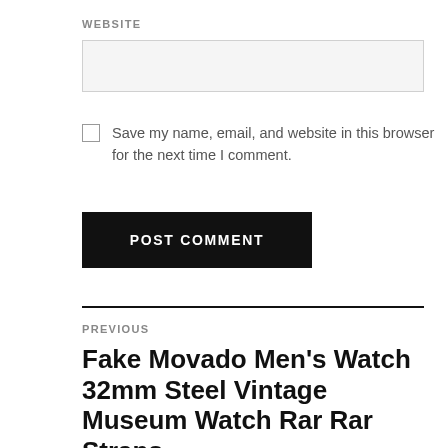WEBSITE
Save my name, email, and website in this browser for the next time I comment.
POST COMMENT
PREVIOUS
Fake Movado Men's Watch 32mm Steel Vintage Museum Watch Rar Rar Straps